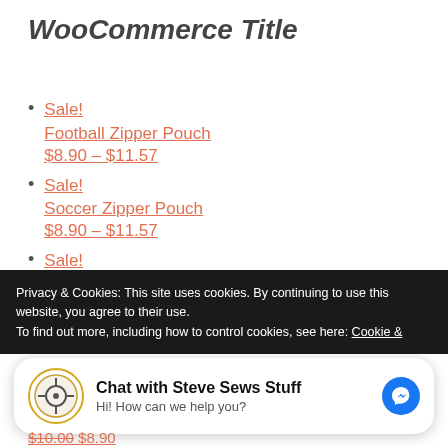WooCommerce Title
Sale!
Football Zipper Pouch
$8.90 – $11.57
Sale!
Soccer Zipper Pouch
$8.90 – $11.57
Sale!
Football Zipper Pouch
$8.90 – $11.57
Privacy & Cookies: This site uses cookies. By continuing to use this website, you agree to their use.
To find out more, including how to control cookies, see here: Cookie &
Chat with Steve Sews Stuff
Hi! How can we help you?
$10.00 $8.90